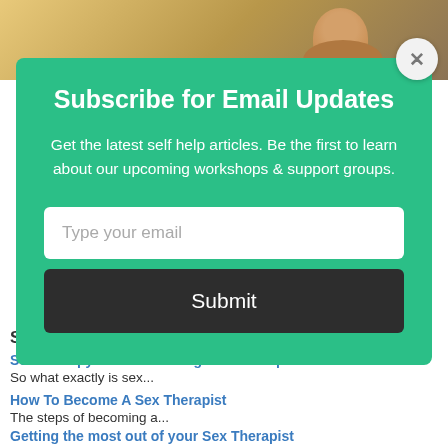[Figure (photo): Background photo of a person outdoors in warm light]
Subscribe for Email Updates
Get the latest self help articles. Be the first to learn about our upcoming workshops & support groups.
Type your email
Submit
Self-help information, articles and tips
Sex Therapy and Counseling in Philadelphia
So what exactly is sex...
How To Become A Sex Therapist
The steps of becoming a...
Getting the most out of your Sex Therapist
You have the utterly disappointing...
Coping After an Affair: Learning to Trust Again